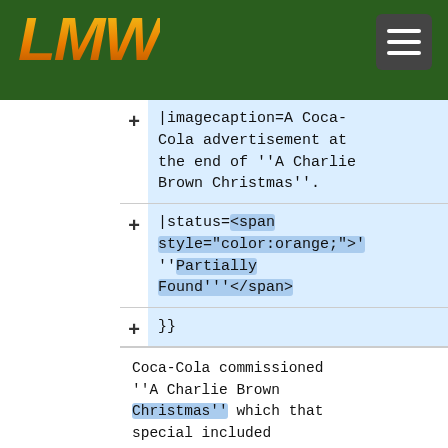LMW
|imagecaption=A Coca-Cola advertisement at the end of ''A Charlie Brown Christmas''.
|status=<span style="color:orange;">'''Partially Found'''</span>
}}
Coca-Cola commissioned ''A Charlie Brown Christmas'' which that special included product placement for the soft drink, '''most notably sponsor ID's with a unique animated sequence''' <ref>